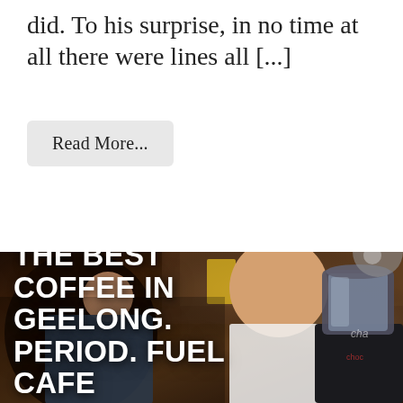did. To his surprise, in no time at all there were lines all [...]
Read More...
[Figure (photo): Photo of baristas working at a coffee cafe counter with espresso equipment including a large blender/grinder on the right, brick wall background, with white overlay text reading 'THE BEST COFFEE IN GEELONG. PERIOD. FUEL CAFE']
THE BEST COFFEE IN GEELONG. PERIOD. FUEL CAFE